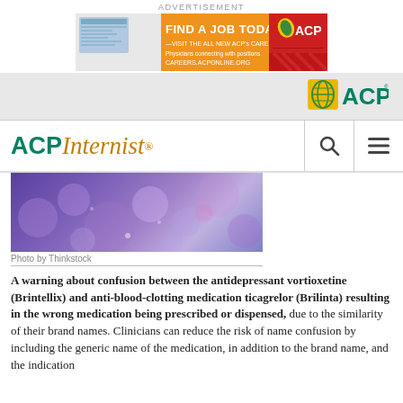ADVERTISEMENT
[Figure (photo): ACP Career Connection advertisement banner: Find a Job Today! Visit the all new ACP's Career Connection. Physicians connecting with positions. careers.acponline.org. ACP logo.]
[Figure (logo): ACP logo in green with leaf icon, on grey background header bar]
ACP Internist
[Figure (photo): Abstract purple bokeh background photo, Photo by Thinkstock]
Photo by Thinkstock
A warning about confusion between the antidepressant vortioxetine (Brintellix) and anti-blood-clotting medication ticagrelor (Brilinta) resulting in the wrong medication being prescribed or dispensed, due to the similarity of their brand names. Clinicians can reduce the risk of name confusion by including the generic name of the medication, in addition to the brand name, and the indication